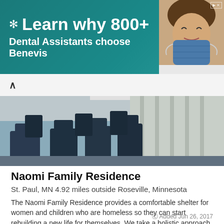[Figure (infographic): Advertisement banner for Benevis dental with teal background, snowflake icon, and text: Learn why 800+ Dental Assistants choose Benevis, with a photo of a smiling woman in a dental mask on the right.]
[Figure (photo): Interior photo of Naomi Family Residence showing chairs and curtains in a dimly lit room.]
Naomi Family Residence
St. Paul, MN 4.92 miles outside Roseville, Minnesota
The Naomi Family Residence provides a comfortable shelter for women and children who are homeless so they can start rebuilding a new life for themselves. We take a holistic approach to care by providi [...]
See more details
Added Jun 26, 2017